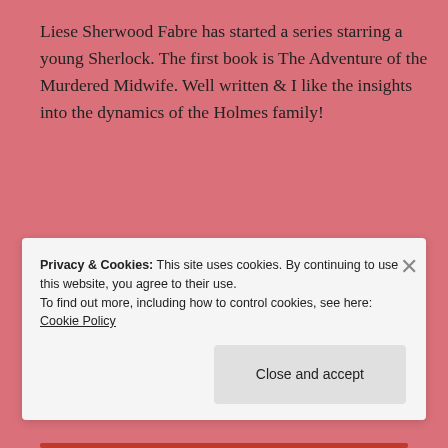Liese Sherwood Fabre has started a series starring a young Sherlock. The first book is The Adventure of the Murdered Midwife. Well written & I like the insights into the dynamics of the Holmes family!
★ Liked by 1 person
↪ Reply
Privacy & Cookies: This site uses cookies. By continuing to use this website, you agree to their use.
To find out more, including how to control cookies, see here: Cookie Policy
Close and accept